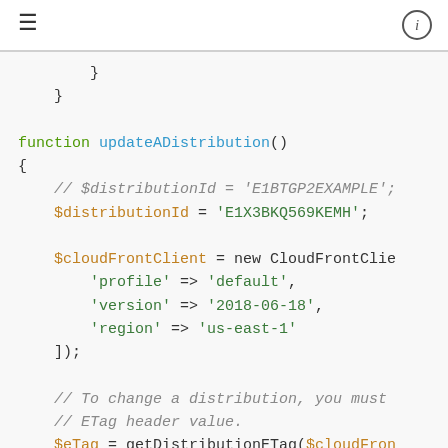≡  ⓘ
}
}

function updateADistribution()
{
    // $distributionId = 'E1BTGP2EXAMPLE';
    $distributionId = 'E1X3BKQ569KEMH';

    $cloudFrontClient = new CloudFrontClie
        'profile' => 'default',
        'version' => '2018-06-18',
        'region' => 'us-east-1'
    ]);

    // To change a distribution, you must
    // ETag header value.
    $eTag = getDistributionETag($cloudFron